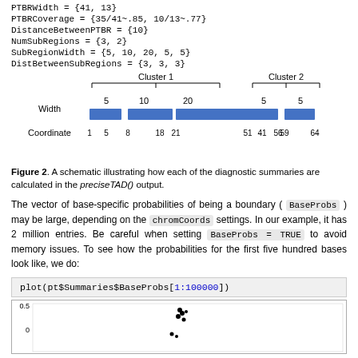PTBRWidth = {41, 13}
PTBRCoverage = {35/41~.85, 10/13~.77}
DistanceBetweenPTBR = {10}
NumSubRegions = {3, 2}
SubRegionWidth = {5, 10, 20, 5, 5}
DistBetweenSubRegions = {3, 3, 3}
[Figure (schematic): Schematic diagram showing Cluster 1 (with sub-regions of Width 5, 10, 20 and Coordinates 1, 5, 8, 18, 21, 41) and Cluster 2 (with sub-regions of Width 5, 5 and Coordinates 51, 56, 59, 64), labeled with Width and Coordinate axes.]
Figure 2. A schematic illustrating how each of the diagnostic summaries are calculated in the preciseTAD() output.
The vector of base-specific probabilities of being a boundary ( BaseProbs ) may be large, depending on the chromCoords settings. In our example, it has 2 million entries. Be careful when setting BaseProbs = TRUE to avoid memory issues. To see how the probabilities for the first five hundred bases look like, we do:
[Figure (continuous-plot): Scatter/dot plot of pt$Summaries$BaseProbs[1:100000] showing probability values, with y-axis labeled showing 0.5 and values near 0, and a cluster of dots visible around the middle-upper area of the plot.]